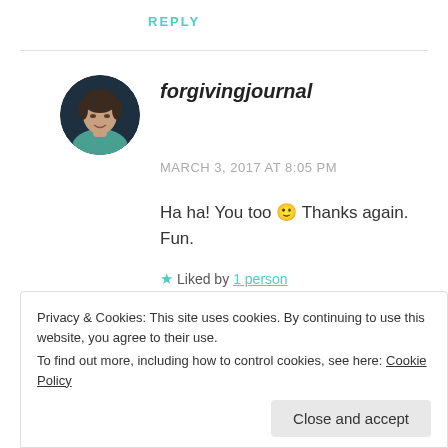REPLY
[Figure (photo): Circular avatar photo of a woman with short dark hair wearing a teal top]
forgivingjournal
MARCH 3, 2017 AT 8:05 PM
Ha ha! You too 🙂 Thanks again. Fun.
★ Liked by 1 person
Privacy & Cookies: This site uses cookies. By continuing to use this website, you agree to their use. To find out more, including how to control cookies, see here: Cookie Policy
Close and accept